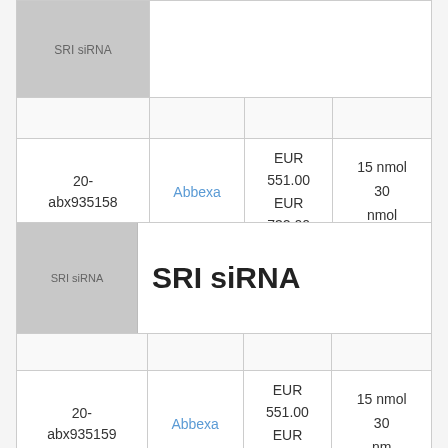|  |  |  | Price | Size |
| --- | --- | --- | --- | --- |
| SRI siRNA (image header cell) |  |  |  |  |
| 20-abx935158 | Abbexa |  | EUR 551.00 EUR 732.00 | 15 nmol 30 nmol |
SRI siRNA
|  |  |  | Price | Size |
| --- | --- | --- | --- | --- |
| SRI siRNA (image header cell) |  |  |  |  |
| 20-abx935159 | Abbexa |  | EUR 551.00 EUR 732.00 | 15 nmol 30 nmol |